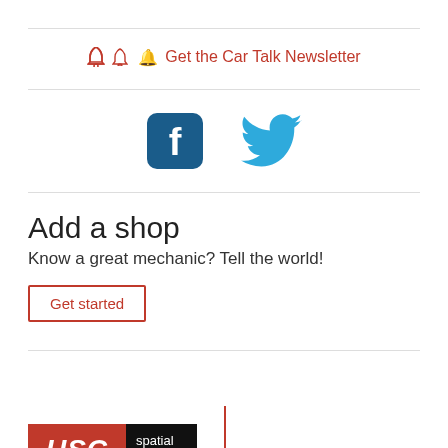🔔 Get the Car Talk Newsletter
[Figure (illustration): Facebook and Twitter social media icons side by side]
Add a shop
Know a great mechanic? Tell the world!
Get started
[Figure (logo): USC Spatial Sciences logo — USC in italic white text on red background, 'spatial sciences' in white on black background]